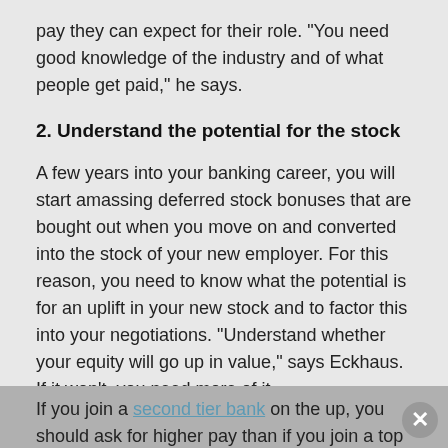pay they can expect for their role. "You need good knowledge of the industry and of what people get paid," he says.
2. Understand the potential for the stock
A few years into your banking career, you will start amassing deferred stock bonuses that are bought out when you move on and converted into the stock of your new employer. For this reason, you need to know what the potential is for an uplift in your new stock and to factor this into your negotiations. "Understand whether your equity will go up in value," says Eckhaus. If it won't, you need more of it.
3. Understand the situation of the business you're joining
If you join a second tier bank on the up, you should ask for higher pay than if you join a top tier bank with an